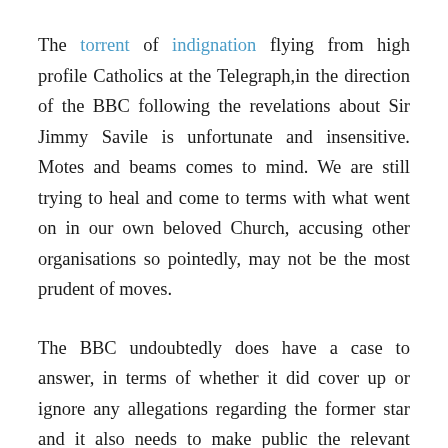The torrent of indignation flying from high profile Catholics at the Telegraph,in the direction of the BBC following the revelations about Sir Jimmy Savile is unfortunate and insensitive. Motes and beams comes to mind. We are still trying to heal and come to terms with what went on in our own beloved Church, accusing other organisations so pointedly, may not be the most prudent of moves.
The BBC undoubtedly does have a case to answer, in terms of whether it did cover up or ignore any allegations regarding the former star and it also needs to make public the relevant documentation and emails surrounding the suppression of the Newsnight report, which would have brought the allegations to light.